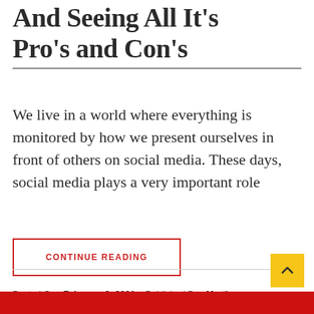And Seeing All It's Pro's and Con's
We live in a world where everything is monitored by how we present ourselves in front of others on social media. These days, social media plays a very important role
CONTINUE READING
Posted On : February 9, 2021   Published By : Martha